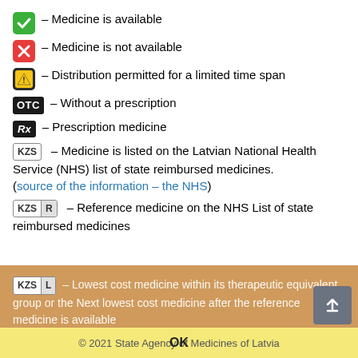✓ – Medicine is available
✗ – Medicine is not available
⚠ – Distribution permitted for a limited time span
OTC – Without a prescription
Rx – Prescription medicine
KZS – Medicine is listed on the Latvian National Health Service (NHS) list of state reimbursed medicines. (source of the information – the NHS)
KZS R – Reference medicine on the NHS List of state reimbursed medicines
KZS L – Lowest cost medicine within its therapeutic equivalent group or the Next lowest cost medicine after KZS L or the Next lowest cost medicine after KZS R or KZS L (in ascending order)
State Agency of Medicines of the Republic of Latvia website uses cookies. By continuing to use this website you agree to the usage of cookies. Read more (in Latvian)
OK   © 2021 State Agency of Medicines of Latvia